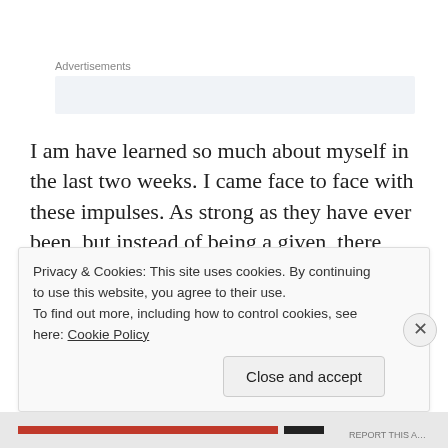Advertisements
I am have learned so much about myself in the last two weeks. I came face to face with these impulses. As strong as they have ever been, but instead of being a given, there was a pause. There was reason. Is that a product of skills taught and gained in treatment? Is is because I'm just not that sick yet? Is it because I haven't found the
Privacy & Cookies: This site uses cookies. By continuing to use this website, you agree to their use.
To find out more, including how to control cookies, see here: Cookie Policy
Close and accept